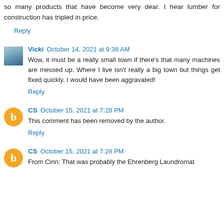so many products that have become very dear. I hear lumber for construction has tripled in price.
Reply
Vicki  October 14, 2021 at 9:38 AM
Wow, it must be a really small town if there's that many machines are messed up. Where I live isn't really a big town but things get fixed quickly. I would have been aggravated!
Reply
CS  October 15, 2021 at 7:28 PM
This comment has been removed by the author.
Reply
CS  October 15, 2021 at 7:28 PM
From Cinn: That was probably the Ehrenberg Laundromat